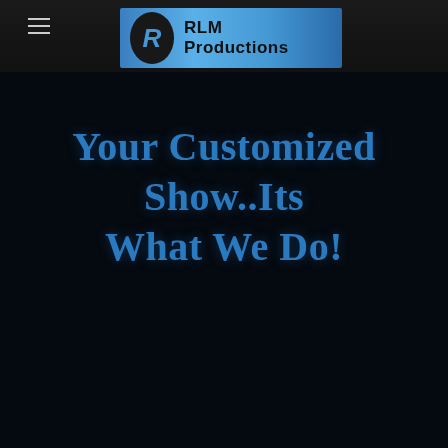RLM Productions
Your Customized Show..Its What We Do!